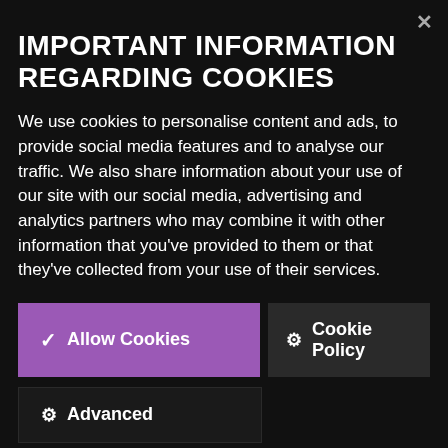IMPORTANT INFORMATION REGARDING COOKIES
We use cookies to personalise content and ads, to provide social media features and to analyse our traffic. We also share information about your use of our site with our social media, advertising and analytics partners who may combine it with other information that you've provided to them or that they've collected from your use of their services.
✓ Allow Cookies
🍪 Cookie Policy
⚙ Advanced